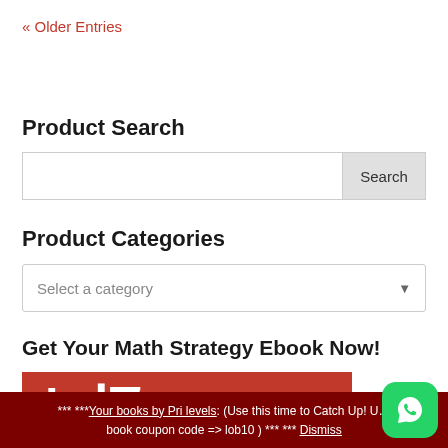« Older Entries
Product Search
Search
Product Categories
Select a category
Get Your Math Strategy Ebook Now!
[Figure (illustration): Red banner with white text showing '7 PROVEN' for a math strategy ebook advertisement]
*** ***Your books by Pri levels: (Use this time to Catch Up! Use book coupon code => lob10 ) *** *** Dismiss